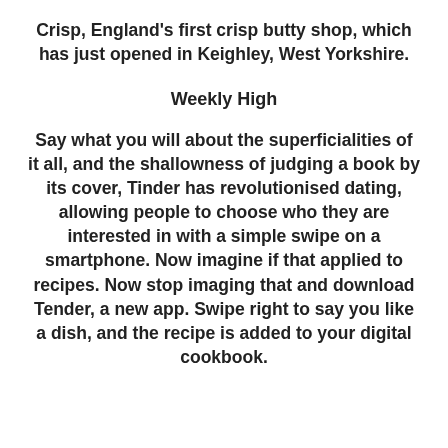Crisp, England's first crisp butty shop, which has just opened in Keighley, West Yorkshire.
Weekly High
Say what you will about the superficialities of it all, and the shallowness of judging a book by its cover, Tinder has revolutionised dating, allowing people to choose who they are interested in with a simple swipe on a smartphone. Now imagine if that applied to recipes. Now stop imaging that and download Tender, a new app. Swipe right to say you like a dish, and the recipe is added to your digital cookbook.